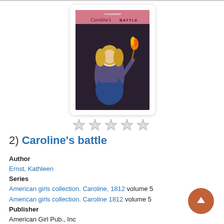[Figure (illustration): Book cover of 'Caroline's Battle' from the American Girl series, showing a blonde girl in period costume holding a torch, with a pink header bar showing the American Girl logo and the title 'Caroline's Battle']
[Figure (other): Five empty star rating icons displayed in a row]
2) Caroline's battle
Author
Ernst, Kathleen
Series
American girls collection. Caroline, 1812 volume 5
American girls collection. Caroline 1812 volume 5
Publisher
American Girl Pub., Inc
Pub. Date
2012
Edition
1st ed.